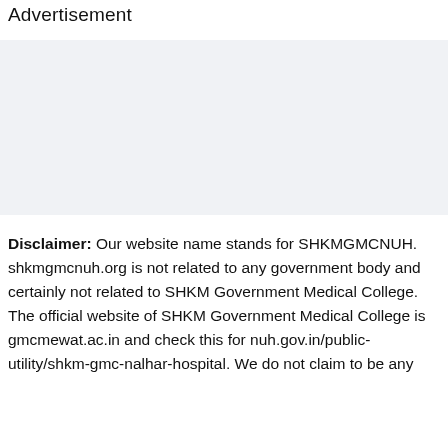Advertisement
[Figure (other): Advertisement banner area with light grey background]
Disclaimer: Our website name stands for SHKMGMCNUH. shkmgmcnuh.org is not related to any government body and certainly not related to SHKM Government Medical College. The official website of SHKM Government Medical College is gmcmewat.ac.in and check this for nuh.gov.in/public-utility/shkm-gmc-nalhar-hospital. We do not claim to be any